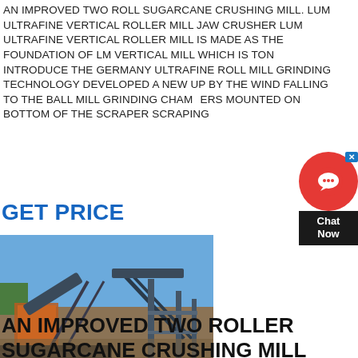AN IMPROVED TWO ROLL SUGARCANE CRUSHING MILL. LUM ULTRAFINE VERTICAL ROLLER MILL JAW CRUSHER LUM ULTRAFINE VERTICAL ROLLER MILL IS MADE AS THE FOUNDATION OF LM VERTICAL MILL WHICH IS TON INTRODUCE THE GERMANY ULTRAFINE ROLL MILL GRINDING TECHNOLOGY DEVELOPED A NEW UP BY THE WIND FALLING TO THE BALL MILL GRINDING CHAMBERS MOUNTED ON BOTTOM OF THE SCRAPER SCRAPING
GET PRICE
[Figure (photo): Outdoor industrial crushing/milling plant with conveyor belts, steel structures, and equipment on a construction/mining site. Date stamp 19/06/2012 visible.]
AN IMPROVED TWO ROLLER SUGARCANE CRUSHING MILL